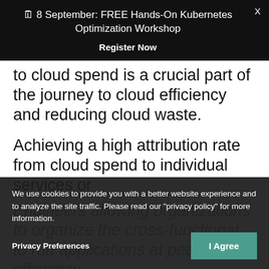🗓 8 September: FREE Hands-On Kubernetes Optimization Workshop
Register Now
to cloud spend is a crucial part of the journey to cloud efficiency and reducing cloud waste.
Achieving a high attribution rate from cloud spend to individual services or
Engineers allowing organizations to organize the cross-functional to run applications at peak efficiency
We use cookies to provide you with a better website experience and to analyze the site traffic. Please read our "privacy policy" for more information.
Privacy Preferences
I Agree